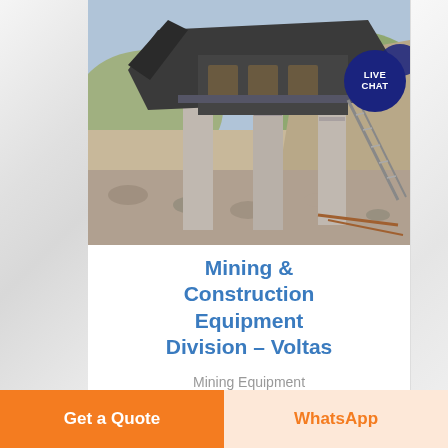[Figure (photo): Mining/construction equipment — a large crusher or screening machine on concrete pillars at an open-pit quarry site with rocky terrain and hills in background.]
Mining & Construction Equipment Division – Voltas
Mining Equipment
Get a Quote
WhatsApp